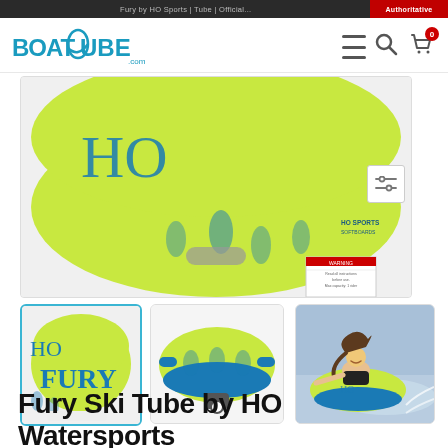BoatTube.com - navigation bar with logo, menu, search, and cart icons
[Figure (photo): Main product photo of HO Fury inflatable ski tube (yellow-green and blue), showing top/back view with warning label sticker]
[Figure (photo): Thumbnail 1 (active/selected): Front view of yellow-green HO Fury ski tube with 'FURY' branding in blue text]
[Figure (photo): Thumbnail 2: Side/bottom view of HO Fury inflatable tube showing blue underside and tow attachment]
[Figure (photo): Thumbnail 3: Action photo of a girl riding the HO Fury ski tube on water being towed by a boat]
Fury Ski Tube by HO Watersports